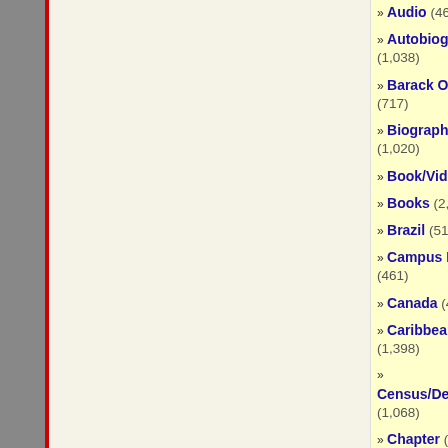» Audio (463)
» Autobiography (1,038)
» Barack Obama (717)
» Biography (1,020)
» Book/Video Reviews (731)
» Books (2,076)
» Brazil (512)
» Campus Life (461)
» Canada (465)
» Caribbean/Latin America (1,398)
» Census/Demographics (1,068)
» Chapter (44)
» Communications/Media Studies (486)
» Course Offerings (158)
» Definitions (43)
» Dissertations